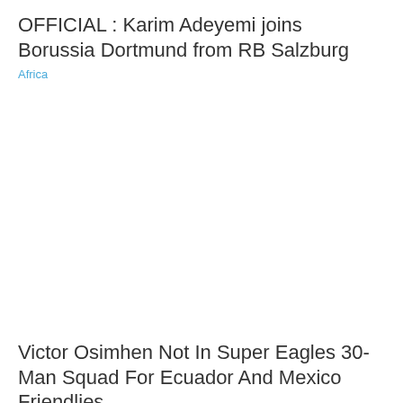OFFICIAL : Karim Adeyemi joins Borussia Dortmund from RB Salzburg
Africa
Victor Osimhen Not In Super Eagles 30-Man Squad For Ecuador And Mexico Friendlies